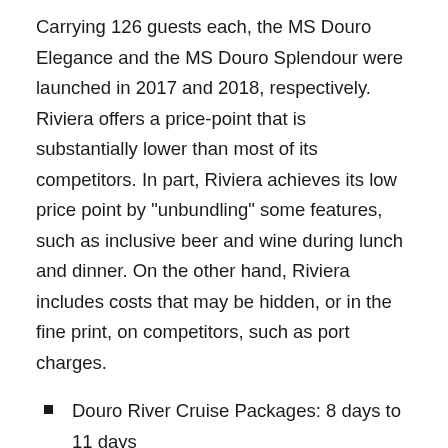Carrying 126 guests each, the MS Douro Elegance and the MS Douro Splendour were launched in 2017 and 2018, respectively. Riviera offers a price-point that is substantially lower than most of its competitors. In part, Riviera achieves its low price point by "unbundling" some features, such as inclusive beer and wine during lunch and dinner. On the other hand, Riviera includes costs that may be hidden, or in the fine print, on competitors, such as port charges.
Douro River Cruise Packages: 8 days to 11 days
Number of Douro River Cruise Itineraries: 2
Ships on the Douro: MS Douro Elegance